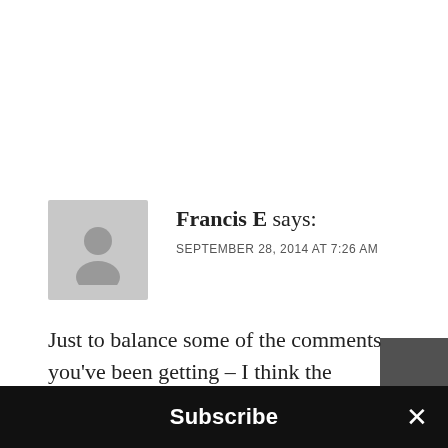Francis E says:
SEPTEMBER 28, 2014 AT 7:26 AM
Just to balance some of the comments you’ve been getting – I think the decision to leave out the viewfinder and include a flash is correct, and I wouldn’t buy the camera had they done it the other way around as you suggest. (I don’t expect to anyway, as I have an
Subscribe